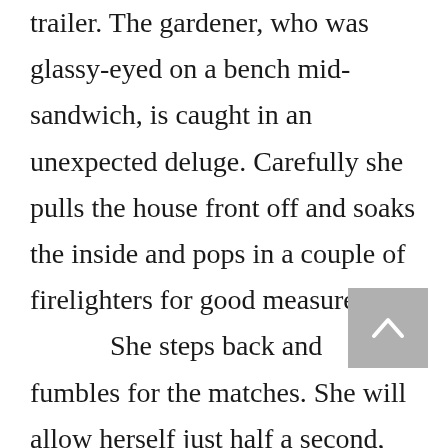trailer. The gardener, who was glassy-eyed on a bench mid-sandwich, is caught in an unexpected deluge. Carefully she pulls the house front off and soaks the inside and pops in a couple of firelighters for good measure.

She steps back and fumbles for the matches. She will allow herself just half a second, then. She looks at the stiff little family waiting impassively for their destruction. The twin babies sit in their highchairs, one with his small fist raised. The young, brown-haired girl is at her